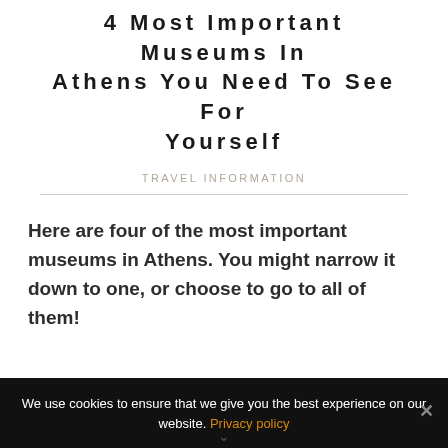4 Most Important Museums In Athens You Need To See For Yourself
TRAVEL INFORMATION
Here are four of the most important museums in Athens. You might narrow it down to one, or choose to go to all of them!
We use cookies to ensure that we give you the best experience on our website. Privacy policy